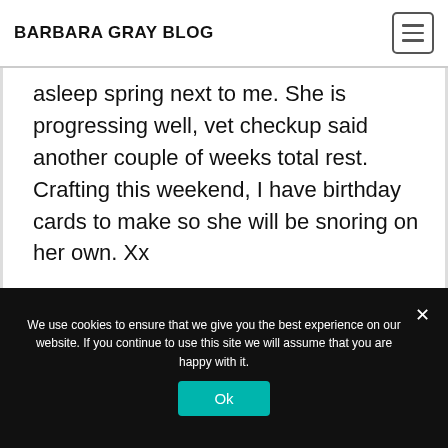BARBARA GRAY BLOG
asleep spring next to me. She is progressing well, vet checkup said another couple of weeks total rest. Crafting this weekend, I have birthday cards to make so she will be snoring on her own. Xx
We use cookies to ensure that we give you the best experience on our website. If you continue to use this site we will assume that you are happy with it.
Ok